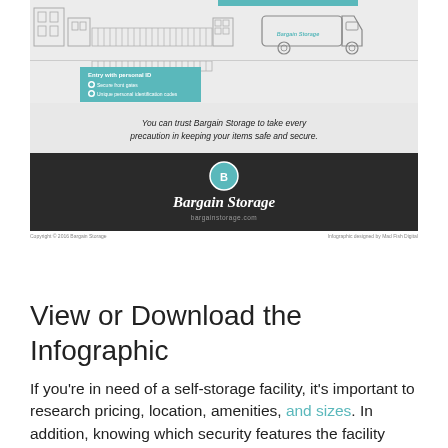[Figure (infographic): Bottom portion of a Bargain Storage infographic showing a storage facility scene with a delivery truck, entry with personal ID box, a trust message, and the Bargain Storage logo with website. Copyright and design credit at bottom.]
View or Download the Infographic
If you're in need of a self-storage facility, it's important to research pricing,  location, amenities, and sizes.  In addition, knowing which security features the facility offers should be one of your